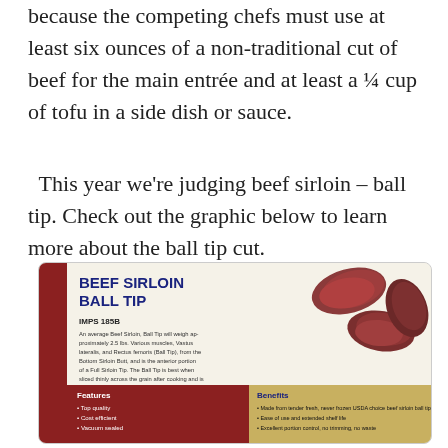because the competing chefs must use at least six ounces of a non-traditional cut of beef for the main entrée and at least a ¼ cup of tofu in a side dish or sauce.
This year we're judging beef sirloin – ball tip. Check out the graphic below to learn more about the ball tip cut.
[Figure (infographic): Beef Sirloin Ball Tip infographic. Shows IMPS 185B with a description of the cut, a photo of beef sirloin ball tip pieces, and a Features/Benefits table. Features: top quality, cost efficient, vacuum sealed. Benefits: Made from tender fresh, never frozen USDA choice beef sirloin ball tip; Easy of use and extended shelf life; Excellent portion control, no trimming, no waste.]